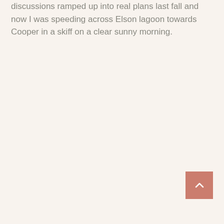discussions ramped up into real plans last fall and now I was speeding across Elson lagoon towards Cooper in a skiff on a clear sunny morning.
[Figure (other): A scroll-to-top button in muted terracotta/salmon color with a white upward-pointing chevron arrow, positioned in the bottom-right area of the page.]